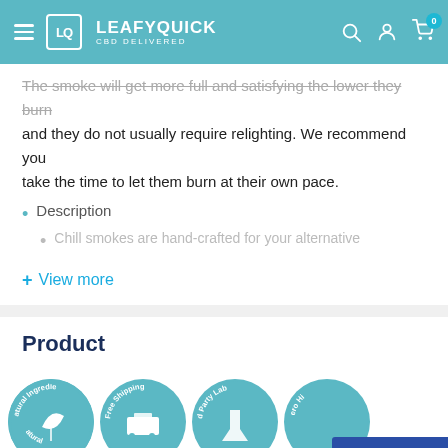LeafyQuick CBD Delivered
The smoke will get more full and satisfying the lower they burn and they do not usually require relighting. We recommend you take the time to let them burn at their own pace.
Description
Chill smokes are hand-crafted for your alternative
+ View more
Product
[Figure (logo): Four circular teal badge icons: Natural Ingredients, Free Shipping, 3rd Party Lab tested, Zero High. Leafy Points button at bottom right.]